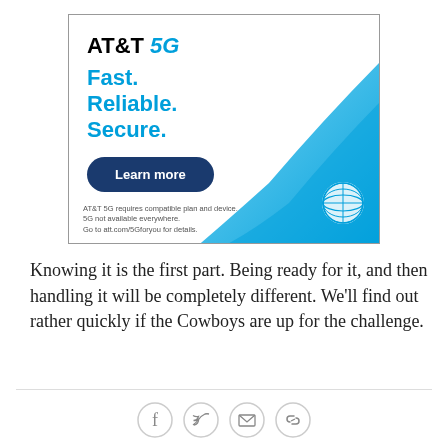[Figure (infographic): AT&T 5G advertisement with tagline 'Fast. Reliable. Secure.' and Learn more button, with blue swoosh design and AT&T globe logo, disclaimer text at bottom.]
Knowing it is the first part. Being ready for it, and then handling it will be completely different. We'll find out rather quickly if the Cowboys are up for the challenge.
[Figure (infographic): Social sharing icons row: Facebook, Twitter, Email, Link]